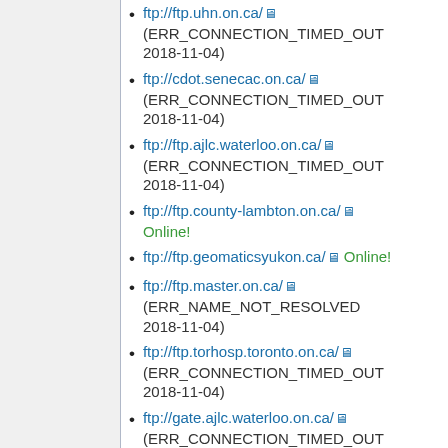ftp://ftp.uhn.on.ca/ (ERR_CONNECTION_TIMED_OUT 2018-11-04)
ftp://cdot.senecac.on.ca/ (ERR_CONNECTION_TIMED_OUT 2018-11-04)
ftp://ftp.ajlc.waterloo.on.ca/ (ERR_CONNECTION_TIMED_OUT 2018-11-04)
ftp://ftp.county-lambton.on.ca/ Online!
ftp://ftp.geomaticsyukon.ca/ Online!
ftp://ftp.master.on.ca/ (ERR_NAME_NOT_RESOLVED 2018-11-04)
ftp://ftp.torhosp.toronto.on.ca/ (ERR_CONNECTION_TIMED_OUT 2018-11-04)
ftp://gate.ajlc.waterloo.on.ca/ (ERR_CONNECTION_TIMED_OUT